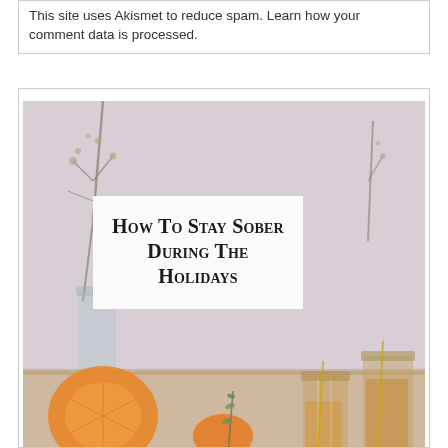This site uses Akismet to reduce spam. Learn how your comment data is processed.
[Figure (photo): A styled holiday photo showing drinks and citrus fruits on a table with branches in a vase in the background. A white card overlay reads 'How To Stay Sober During The Holidays' in bold serif small-caps text.]